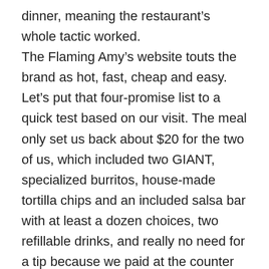dinner, meaning the restaurant's whole tactic worked.
The Flaming Amy's website touts the brand as hot, fast, cheap and easy. Let's put that four-promise list to a quick test based on our visit. The meal only set us back about $20 for the two of us, which included two GIANT, specialized burritos, house-made tortilla chips and an included salsa bar with at least a dozen choices, two refillable drinks, and really no need for a tip because we paid at the counter and then visited the drink counter and salsa bar to serve ourselves. So cheap and easy checked out well.